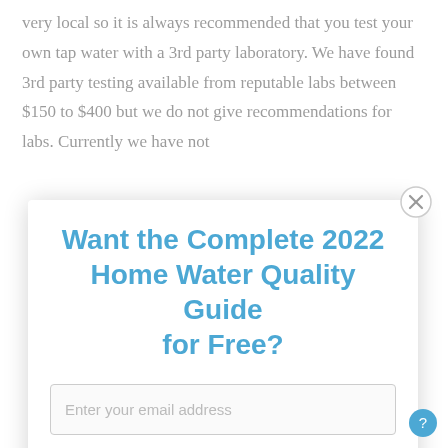very local so it is always recommended that you test your own tap water with a 3rd party laboratory. We have found 3rd party testing available from reputable labs between $150 to $400 but we do not give recommendations for labs. Currently we have not
Want the Complete 2022 Home Water Quality Guide for Free?
Enter your email address
Download Now